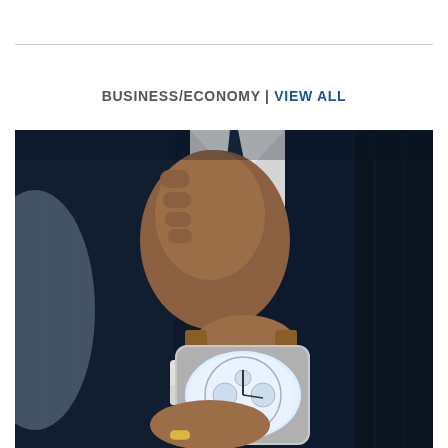BUSINESS/ECONOMY | VIEW ALL
[Figure (photo): Close-up photo of a businessman in a dark navy suit adjusting his tie, wearing a luxury watch with a tan leather strap and a gold ring on his finger.]